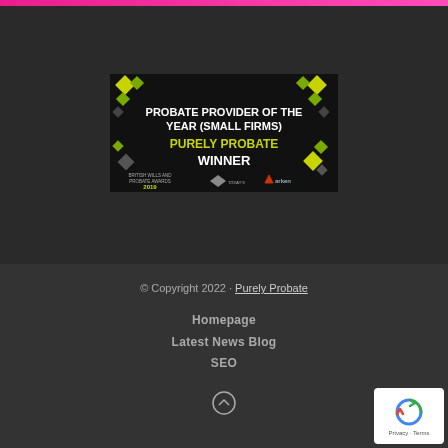[Figure (illustration): Award banner for Probate Provider of the Year (Small Firms) - Purely Probate Winner, British Wills and Probate Awards 2019, sponsored by Arken]
© Copyright 2022 · Purely Probate
Homepage
Latest News Blog
SEO